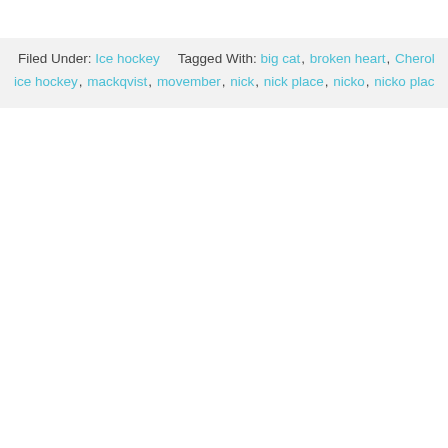Filed Under: Ice hockey   Tagged With: big cat, broken heart, Cherokees, ice hockey, mackqvist, movember, nick, nick place, nicko, nicko place